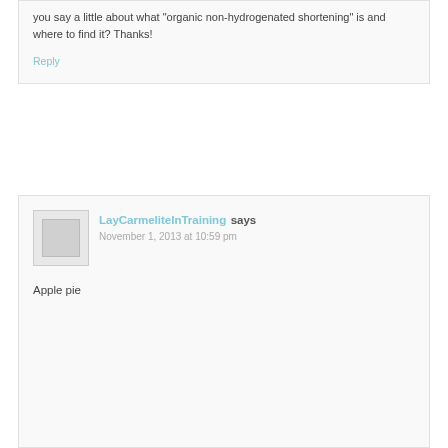you say a little about what "organic non-hydrogenated shortening" is and where to find it? Thanks!
Reply
LayCarmeliteInTraining says
November 1, 2013 at 10:59 pm
Apple pie